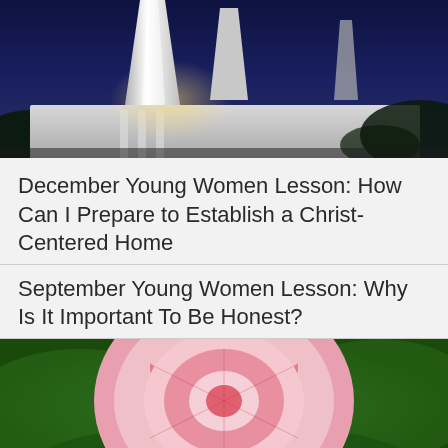[Figure (photo): Night photo of a white LDS temple with illuminated spires against a dark blue sky, with palm trees visible]
December Young Women Lesson: How Can I Prepare to Establish a Christ-Centered Home
September Young Women Lesson: Why Is It Important To Be Honest?
[Figure (photo): Close-up photo of a pink and red striped camellia flower with green leaves in the background]